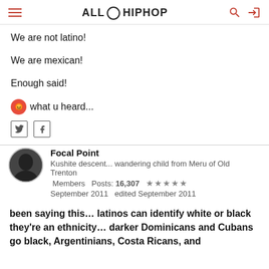ALL HIP HOP
We are not latino!
We are mexican!
Enough said!
😡 what u heard...
[Twitter icon] [Facebook icon]
Focal Point
Kushite descent... wandering child from Meru of Old   Trenton
Members  Posts: 16,307  ★★★★★
September 2011   edited September 2011
been saying this... latinos can identify white or black they're an ethnicity... darker Dominicans and Cubans go black, Argentinians, Costa Ricans, and